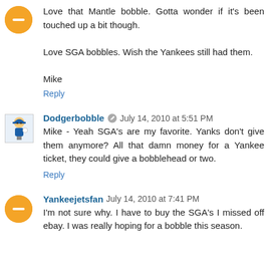Love that Mantle bobble. Gotta wonder if it's been touched up a bit though.

Love SGA bobbles. Wish the Yankees still had them.

Mike
Reply
Dodgerbobble  July 14, 2010 at 5:51 PM
Mike - Yeah SGA's are my favorite. Yanks don't give them anymore? All that damn money for a Yankee ticket, they could give a bobblehead or two.
Reply
Yankeejetsfan  July 14, 2010 at 7:41 PM
I'm not sure why. I have to buy the SGA's I missed off ebay. I was really hoping for a bobble this season.